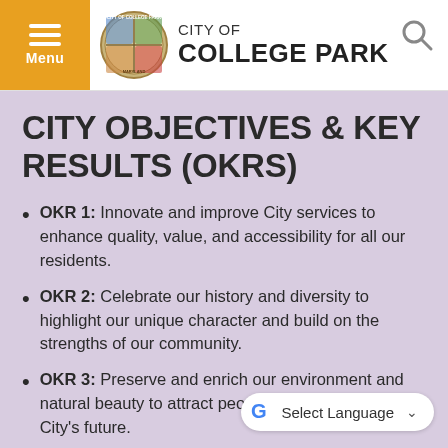CITY OF COLLEGE PARK
CITY OBJECTIVES & KEY RESULTS (OKRS)
OKR 1: Innovate and improve City services to enhance quality, value, and accessibility for all our residents.
OKR 2: Celebrate our history and diversity to highlight our unique character and build on the strengths of our community.
OKR 3: Preserve and enrich our environment and natural beauty to attract people and sustain our City’s future.
OKR 4: Enhance safety and quality of